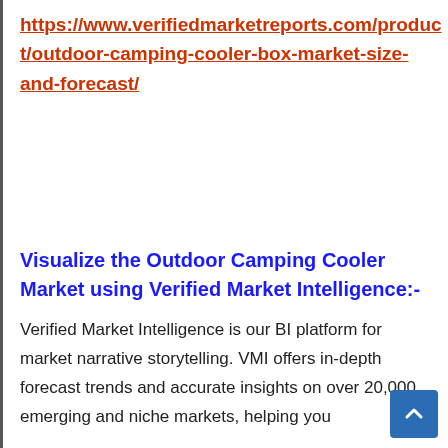https://www.verifiedmarketreports.com/product/outdoor-camping-cooler-box-market-size-and-forecast/
Visualize the Outdoor Camping Cooler Market using Verified Market Intelligence:-
Verified Market Intelligence is our BI platform for market narrative storytelling. VMI offers in-depth forecast trends and accurate insights on over 20,000 emerging and niche markets, helping you